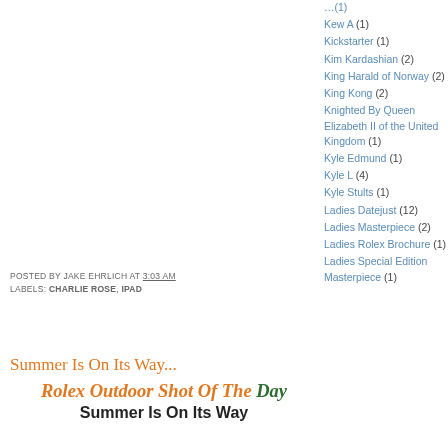POSTED BY JAKE EHRLICH AT 3:03 AM
LABELS: CHARLIE ROSE, IPAD
Summer Is On Its Way...
Rolex Outdoor Shot Of The Day
Summer Is On Its Way
Kew A (1)
Kickstarter (1)
Kim Kardashian (2)
King Harald of Norway (2)
King Kong (2)
Knighted By Queen Elizabeth II of the United Kingdom (1)
Kyle Edmund (1)
Kyle L (4)
Kyle Stults (1)
Ladies Datejust (12)
Ladies Masterpiece (2)
Ladies Rolex Brochure (1)
Ladies Special Edition Masterpiece (1)